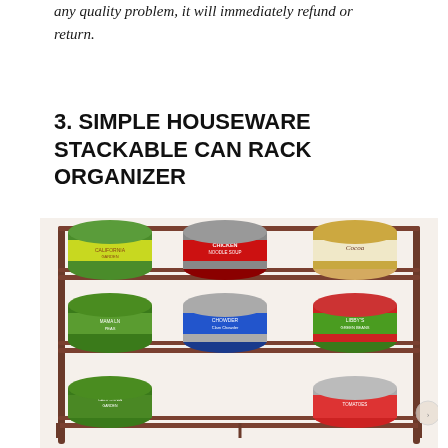any quality problem, it will immediately refund or return.
3. SIMPLE HOUSEWARE STACKABLE CAN RACK ORGANIZER
[Figure (photo): A stackable can rack organizer made of metal wire in bronze/dark finish, loaded with multiple cans including California Garden pineapple chunks, Campbell's chicken noodle soup, Cocoa brand, and various other food cans arranged on three tiers.]